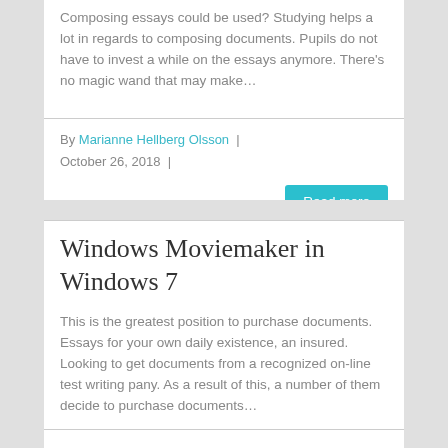Composing essays could be used? Studying helps a lot in regards to composing documents. Pupils do not have to invest a while on the essays anymore. There's no magic wand that may make…
By Marianne Hellberg Olsson  |  October 26, 2018  |
Read more
Windows Moviemaker in Windows 7
This is the greatest position to purchase documents. Essays for your own daily existence, an insured. Looking to get documents from a recognized on-line test writing pany. As a result of this, a number of them decide to purchase documents…
By Marianne Hellberg Olsson  |  October 26, 2018  |